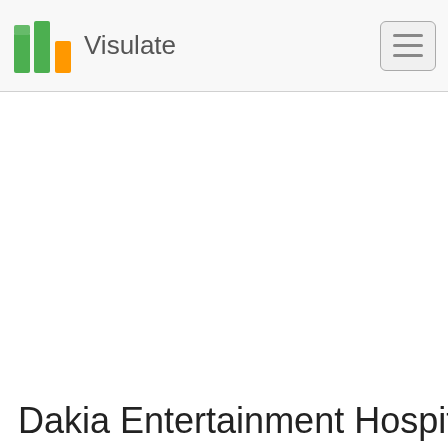Visulate
Dakia Entertainment Hospitality, LLC